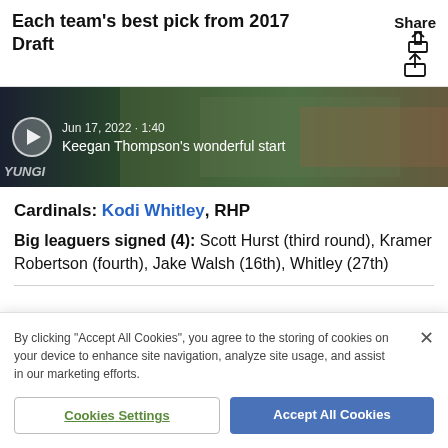Each team's best pick from 2017 Draft
[Figure (screenshot): Video thumbnail showing a baseball game crowd with play button overlay. Text reads: Jun 17, 2022 · 1:40 / Keegan Thompson's wonderful start]
Cardinals: Kodi Whitley, RHP
Big leaguers signed (4): Scott Hurst (third round), Kramer Robertson (fourth), Jake Walsh (16th), Whitley (27th)
By clicking "Accept All Cookies", you agree to the storing of cookies on your device to enhance site navigation, analyze site usage, and assist in our marketing efforts.